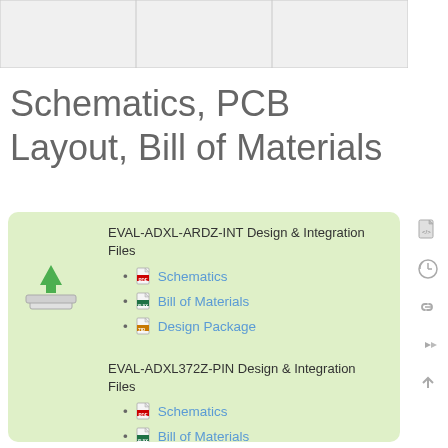[Figure (table-as-image): Partial table header row at top of page with grey cells]
Schematics, PCB Layout, Bill of Materials
EVAL-ADXL-ARDZ-INT Design & Integration Files
Schematics
Bill of Materials
Design Package
EVAL-ADXL372Z-PIN Design & Integration Files
Schematics
Bill of Materials
Design Package